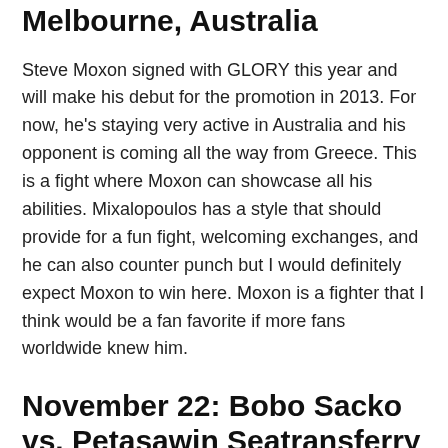Melbourne, Australia
Steve Moxon signed with GLORY this year and will make his debut for the promotion in 2013. For now, he's staying very active in Australia and his opponent is coming all the way from Greece. This is a fight where Moxon can showcase all his abilities. Mixalopoulos has a style that should provide for a fun fight, welcoming exchanges, and he can also counter punch but I would definitely expect Moxon to win here. Moxon is a fighter that I think would be a fan favorite if more fans worldwide knew him.
November 22: Bobo Sacko vs. Petasawin Seatransferry – Best of Siam 2 – Paris, France
Bobo Sacko is one of the many upcoming talents in France and recently suffered the first loss of his career last month to